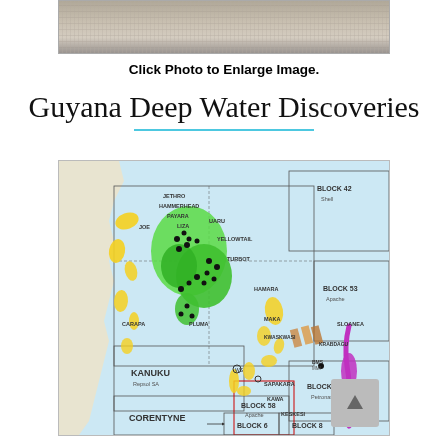[Figure (photo): Partial photo of gravel/aggregate material on a dark surface, cropped at the top of the page]
Click Photo to Enlarge Image.
Guyana Deep Water Discoveries
[Figure (map): Map of Guyana offshore blocks showing deep water oil discoveries. Features labeled blocks: Block 42 (Shell), Block 53 (Apache), Block 52 (Petronas), Block 58 (Apache), Block 6, Block 8. Named areas: KANUKU (Repsol SA), CORENTYNE. Discovery fields labeled: JETHRO, HAMMERHEAD, PAYARA, LIZA, UARU, YELLOWTAIL, TURBOT, HAMARA, MAKA, KWASKWASI, SLOANEA, BMS (MMI), KRABDAGU, SAPAKARA, KAWA, KESKESI, PLUMA, JOE, CARAPA. Green highlighted areas show main discovery clusters. Yellow areas indicate prospective zones. Purple/magenta features on right side. Orange/gold features on left and bottom.]